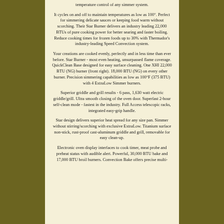temperature control of any simmer system.
It cycles on and off to maintain temperatures as low as 100°. Perfect for simmering delicate sauces or keeping food warm without scorching. Their Star Burner delivers an industry leading 22,000 BTUs of pure cooking power for better searing and faster boiling. Reduce cooking times for frozen foods up to 30% with Thermador's industry-leading Speed Convection system.
Your creations are cooked evenly, perfectly and in less time than ever before. Star Burner - most even heating, unsurpassed flame coverage. QuickClean Base designed for easy surface cleaning. One XHI 22,000 BTU (NG) burner (front right). 18,000 BTU (NG) on every other burner. Precision simmering capabilities as low as 100°F (375 BTU) with 4 ExtraLow Simmer burners.
Superior griddle and grill results - 6 pass, 1,630 watt electric griddle/grill. Ultra smooth closing of the oven door. Superfast 2-hour self-clean mode - fastest in the industry. Full Access telescopic racks, integrated easy-grip handle.
Star design delivers superior heat spread for any size pan. Simmer without stirring/scorching with exclusive ExtraLow. Titanium surface non-stick, rust-proof cast-aluminum griddle and grill, removable for easy clean-up.
Electronic oven display interfaces to cook timer, meat probe and preheat status with audible alert. Powerful, 30,000 BTU bake and 17,000 BTU broil burners. Convection Bake offers precise multi-